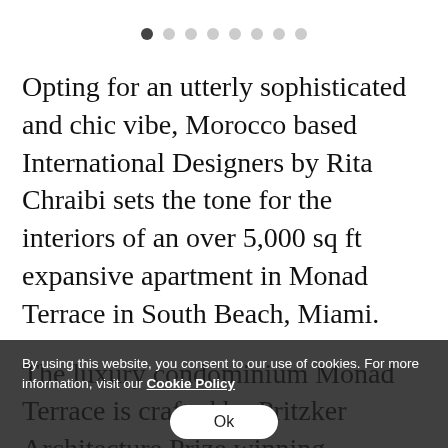[Figure (other): Carousel navigation dots — one filled dark dot (active) followed by seven light grey dots]
Opting for an utterly sophisticated and chic vibe, Morocco based International Designers by Rita Chraibi sets the tone for the interiors of an over 5,000 sq ft expansive apartment in Monad Terrace in South Beach, Miami.
The luxury condominium Monad Terrace is crafted by Pritzker Architecture Prize winning architect Jean Nouvel, along with Kobi Karp. The sustainable, seafacing structure was the
By using this website, you consent to our use of cookies. For more information, visit our Cookie Policy
Ok